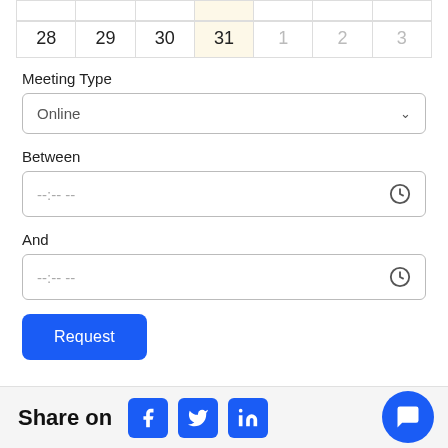|  |  |  |  |  |  |  |
| --- | --- | --- | --- | --- | --- | --- |
|  |  |  |  |  |  |  |
| 28 | 29 | 30 | 31 | 1 | 2 | 3 |
Meeting Type
Online
Between
--:-- --
And
--:-- --
Request
Share on